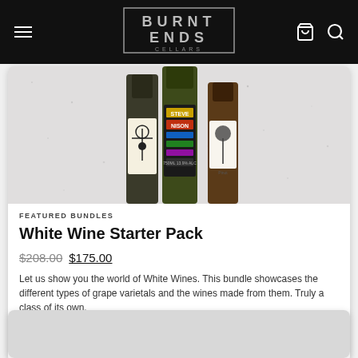BURNT ENDS CELLARS
[Figure (photo): Wine bottles on a granite/stone surface — shows multiple wine bottles including labels reading 'STEVE NISON' and a tree logo bottle]
FEATURED BUNDLES
White Wine Starter Pack
$208.00 $175.00
Let us show you the world of White Wines. This bundle showcases the different types of grape varietals and the wines made from them. Truly a class of its own.
ADD TO CART
[Figure (photo): Partial view of a second product card at the bottom of the page]